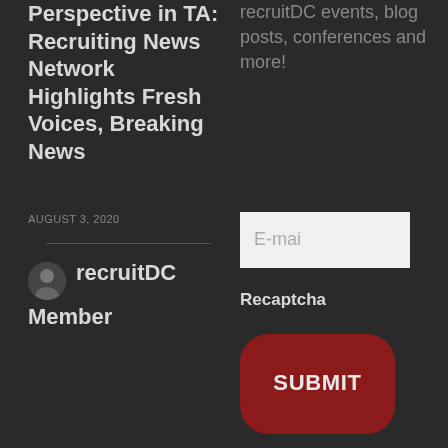Perspective in TA: Recruiting News Network Highlights Fresh Voices, Breaking News
AUGUST 3, 2020
recruitDC events, blog posts, conferences and more!
E-mail
Recaptcha
SUBMIT
[Figure (photo): Small circular avatar photo of a person]
recruitDC
Member